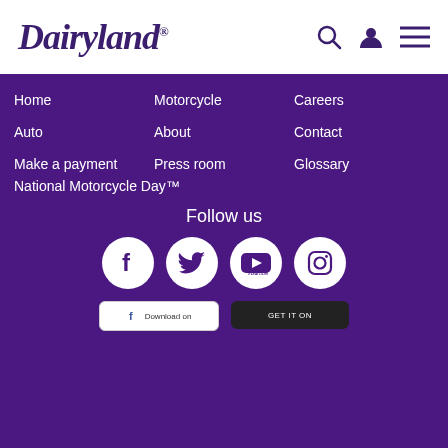Dairyland
Home
Motorcycle
Careers
Auto
About
Contact
Make a payment
Press room
Glossary
National Motorcycle Day™
Follow us
[Figure (illustration): Social media icons: Facebook, Twitter, YouTube, Instagram in white circles on purple background]
[Figure (illustration): App store download buttons: Facebook (light) and Google Play (dark)]